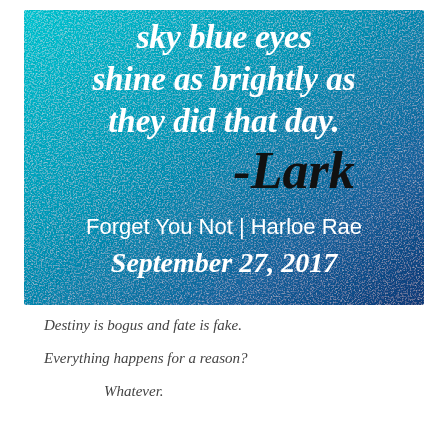[Figure (illustration): A book quote graphic with a teal/blue gradient background showing a quote in white script font: 'sky blue eyes shine as brightly as they did that day.' followed by '-Lark' in black cursive, and below 'Forget You Not | Harloe Rae September 27, 2017' in white sans-serif text.]
Destiny is bogus and fate is fake.
Everything happens for a reason?
Whatever.